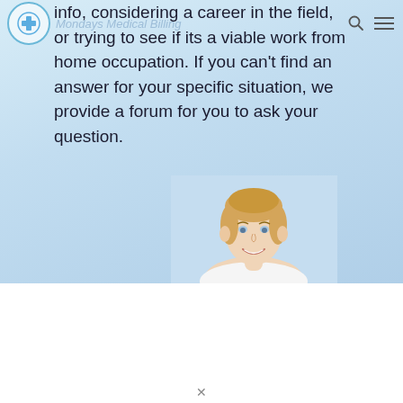Mondays Medical Billing
info, considering a career in the field, or trying to see if its a viable work from home occupation. If you can't find an answer for your specific situation, we provide a forum for you to ask your question.
[Figure (photo): Smiling blonde woman, head and shoulders portrait, on a light blue gradient background]
X